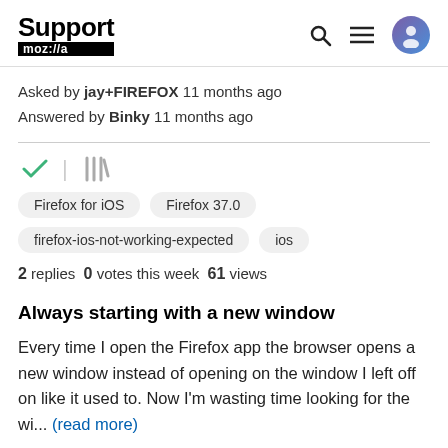Support moz://a
Asked by jay+FIREFOX 11 months ago
Answered by Binky 11 months ago
[Figure (other): Checkmark icon and library/bookmark icon row]
Firefox for iOS   Firefox 37.0   firefox-ios-not-working-expected   ios
2 replies  0 votes this week  61 views
Always starting with a new window
Every time I open the Firefox app the browser opens a new window instead of opening on the window I left off on like it used to. Now I'm wasting time looking for the wi... (read more)